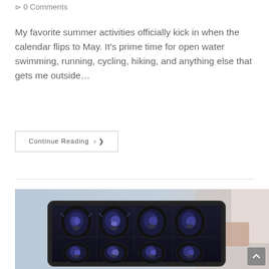0 Comments
My favorite summer activities officially kick in when the calendar flips to May. It’s prime time for open water swimming, running, cycling, hiking, and anything else that gets me outside…
Continue Reading ❯
[Figure (photo): A medical professional holding a tablet or lightbox displaying MRI brain scan images arranged in a grid, showing multiple cross-sectional views of a human brain.]